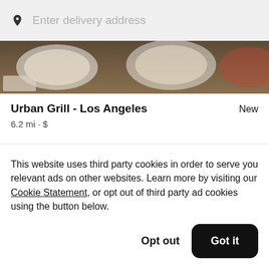Enter delivery address
[Figure (photo): Food photo showing plates of food on a wooden table background]
Urban Grill - Los Angeles
6.2 mi • $
Frequently asked questions
This website uses third party cookies in order to serve you relevant ads on other websites. Learn more by visiting our Cookie Statement, or opt out of third party ad cookies using the button below.